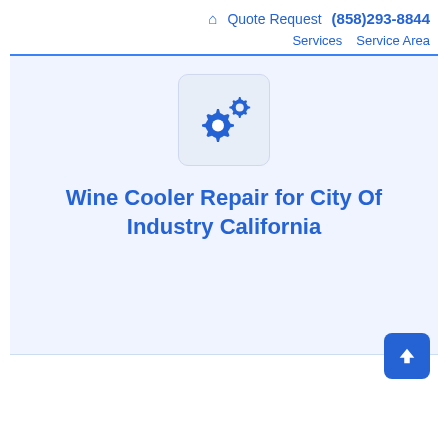🏠 Quote Request (858)293-8844 Services Service Area
[Figure (illustration): Gear/settings icon in a light blue rounded square box]
Wine Cooler Repair for City Of Industry California